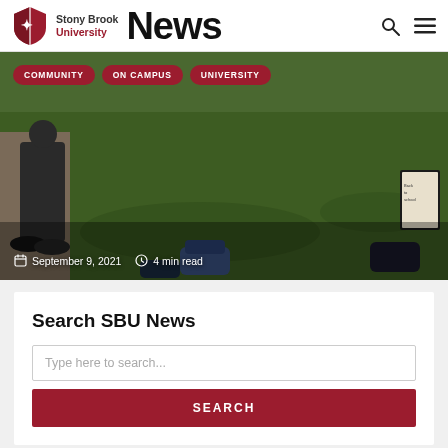Stony Brook University News
[Figure (photo): Outdoor photo showing a person standing on a campus lawn with backpacks placed on the grass. Tags: COMMUNITY, ON CAMPUS, UNIVERSITY. Meta: September 9, 2021 · 4 min read]
Search SBU News
Type here to search...
SEARCH